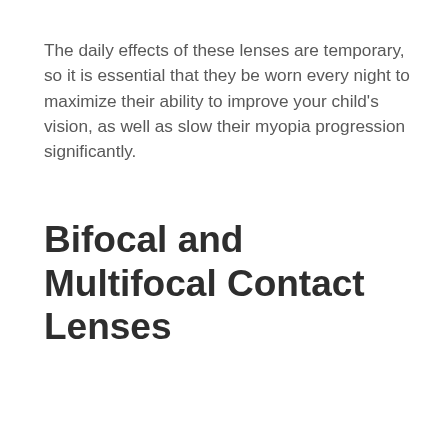The daily effects of these lenses are temporary, so it is essential that they be worn every night to maximize their ability to improve your child's vision, as well as slow their myopia progression significantly.
Bifocal and Multifocal Contact Lenses
Though primarily meant to treat vision problems associated with presbyopia, bifocal and multifocal lenses have proven to be effective also in slowing myopia progression.
Specifically, bifocal and multifocal lenses that have distance vision correction in the center and near vision correction on the sides have been shown to stop or significantly slow children's myopia.
Unfortunately, there is no way to cure myopia. Glasses and contacts can help correct vision, but often don't prevent vision from getting worse, leaving your child vulnerable to eye disease